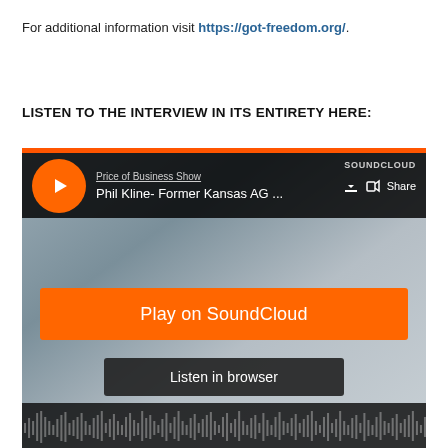For additional information visit https://got-freedom.org/.
LISTEN TO THE INTERVIEW IN ITS ENTIRETY HERE:
[Figure (screenshot): SoundCloud embedded player showing 'Price of Business Show' with track 'Phil Kline- Former Kansas AG ...' — includes play button, download icon, share button, 'Play on SoundCloud' orange button, and 'Listen in browser' button, with a photo of a man wearing headphones in the background and a waveform at the bottom.]